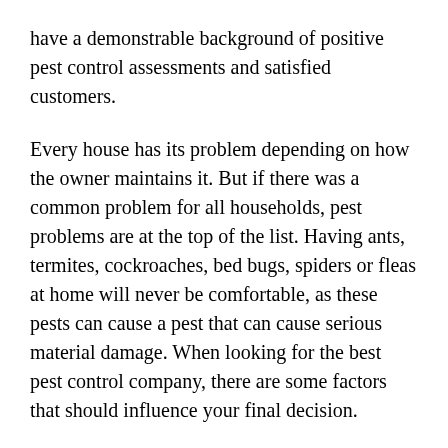have a demonstrable background of positive pest control assessments and satisfied customers.
Every house has its problem depending on how the owner maintains it. But if there was a common problem for all households, pest problems are at the top of the list. Having ants, termites, cockroaches, bed bugs, spiders or fleas at home will never be comfortable, as these pests can cause a pest that can cause serious material damage. When looking for the best pest control company, there are some factors that should influence your final decision.
When a company is committed to customer service, it is generally a good indication that they are committed in other important areas. Before